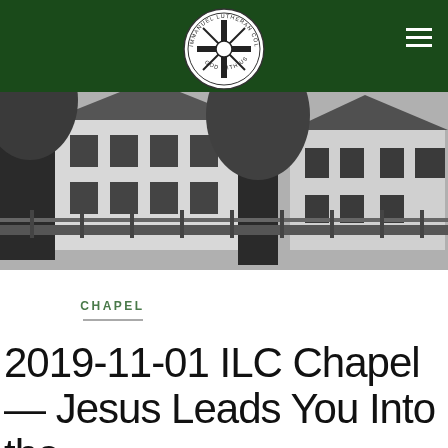[Figure (photo): Black and white photograph of Immanuel Lutheran College campus buildings — white colonial-style structures with dark shutters, surrounded by large trees, with a fence visible in the foreground]
[Figure (logo): Circular seal of Immanuel Lutheran College featuring a cross with a heart and crown, surrounded by text reading 'IMMANUEL LUTHERAN COLLEGE' and 'GOD WITH US']
CHAPEL
2019-11-01 ILC Chapel — Jesus Leads You Into the